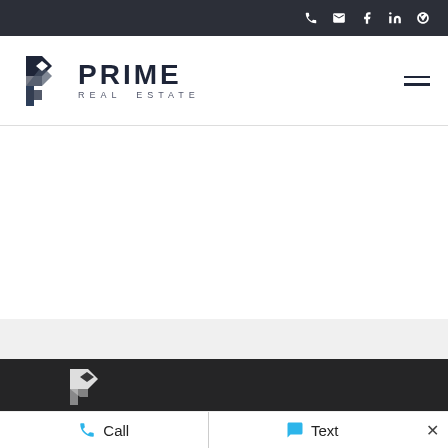Social/contact icon bar (phone, email, Facebook, LinkedIn, Yelp)
[Figure (logo): Prime Real Estate logo with geometric P icon and wordmark PRIME REAL ESTATE]
[Figure (illustration): Hamburger menu icon (three horizontal lines)]
[Figure (logo): Prime Real Estate icon mark in footer dark area]
Call   Text   ×